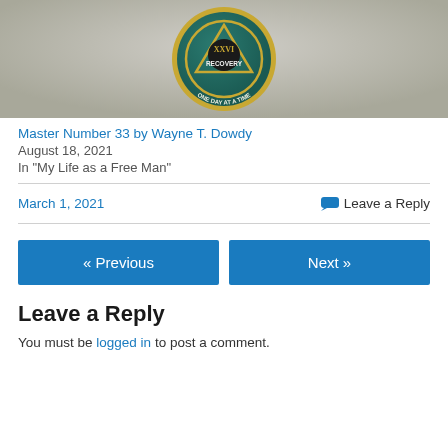[Figure (photo): A recovery coin/medallion with text 'RECOVERY' and 'ONE DAY AT A TIME' on a fabric background]
Master Number 33 by Wayne T. Dowdy
August 18, 2021
In "My Life as a Free Man"
March 1, 2021
💬 Leave a Reply
« Previous
Next »
Leave a Reply
You must be logged in to post a comment.